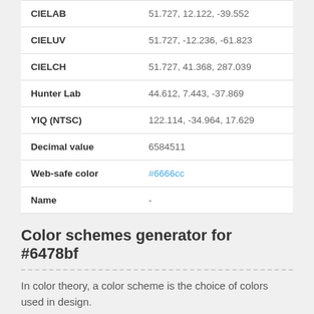| Property | Value |
| --- | --- |
| CIELAB | 51.727, 12.122, -39.552 |
| CIELUV | 51.727, -12.236, -61.823 |
| CIELCH | 51.727, 41.368, 287.039 |
| Hunter Lab | 44.612, 7.443, -37.869 |
| YIQ (NTSC) | 122.114, -34.964, 17.629 |
| Decimal value | 6584511 |
| Web-safe color | #6666cc |
| Name | - |
Color schemes generator for #6478bf
In color theory, a color scheme is the choice of colors used in design.
[Figure (illustration): Two color swatches side by side: left swatch #647Bbf (blue-purple), right swatch #bfab64 (golden)]